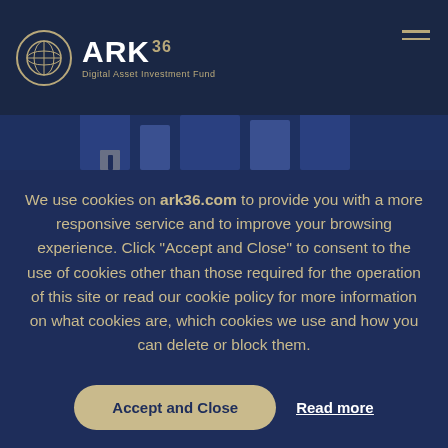ARK36 Digital Asset Investment Fund
We use cookies on ark36.com to provide you with a more responsive service and to improve your browsing experience. Click “Accept and Close” to consent to the use of cookies other than those required for the operation of this site or read our cookie policy for more information on what cookies are, which cookies we use and how you can delete or block them.
Accept and Close   Read more